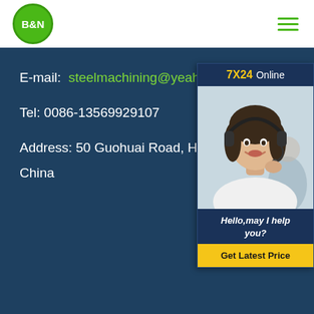[Figure (logo): B&N logo: green circle with white bold text B&N]
[Figure (other): Hamburger menu icon with three green horizontal lines]
E-mail:  steelmachining@yeah.n
Tel: 0086-13569929107
Address: 50 Guohuai Road, Henan
China
[Figure (photo): 7X24 Online chat widget showing a smiling woman with headset. Header: 7X24 Online. Message: Hello,may I help you? Button: Get Latest Price]